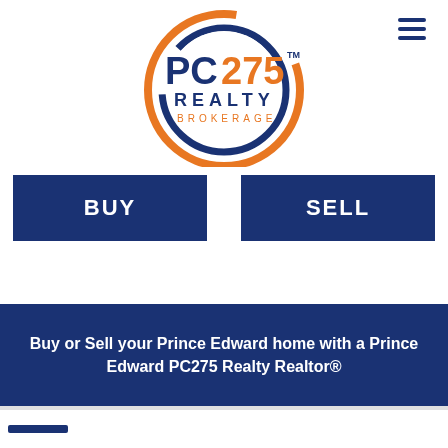[Figure (logo): PC275 Realty Brokerage logo: circular design with orange and dark blue rings, text 'PC275' in dark blue and orange, 'REALTY' in dark blue, 'BROKERAGE' in orange below]
BUY
SELL
Buy or Sell your Prince Edward home with a Prince Edward PC275 Realty Realtor®